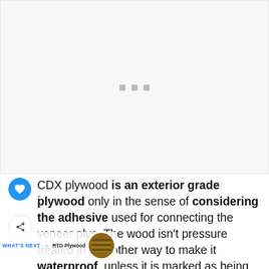[Figure (other): Loading placeholder area with three small grey squares/dots centered, representing an image or advertisement loading]
CDX plywood is an exterior grade plywood only in the sense of considering the adhesive used for connecting the veneer plys. The wood isn't pressure treated in any other way to make it waterproof, unless it is marked as being "pressure treated" plywood. These will